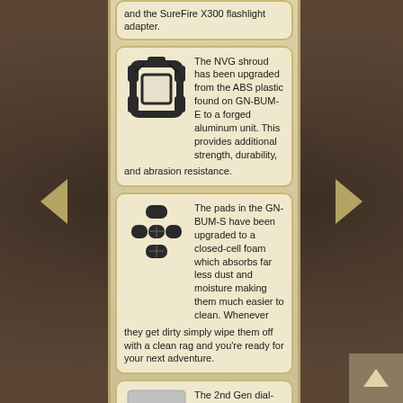and the SureFire X300 flashlight adapter.
The NVG shroud has been upgraded from the ABS plastic found on GN-BUM-E to a forged aluminum unit. This provides additional strength, durability, and abrasion resistance.
[Figure (photo): NVG shroud - forged aluminum unit, dark colored angular bracket shape]
The pads in the GN-BUM-S have been upgraded to a closed-cell foam which absorbs far less dust and moisture making them much easier to clean. Whenever they get dirty simply wipe them off with a clean rag and you're ready for your next adventure.
[Figure (photo): Foam pads for GN-BUM-S helmet, showing 5 dark oval/round pads arranged in a pattern]
The 2nd Gen dial-adjustment four-point harness (GN-DRS2) features the same features and benefits of the 1st Gen harness
[Figure (photo): Gray/placeholder image for 2nd Gen harness GN-DRS2]